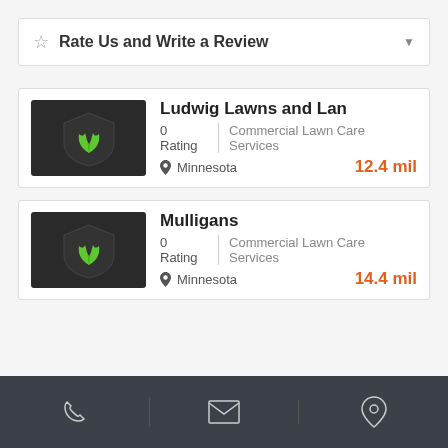Rate Us and Write a Review
Ludwig Lawns and Lan
0 Rating   Commercial Lawn Care Services
Minnesota   12.4 mil
Mulligans
0 Rating   Commercial Lawn Care Services
Minnesota   14.4 mil
[Figure (infographic): Footer navigation bar with phone, email, and location pin icons on dark background]